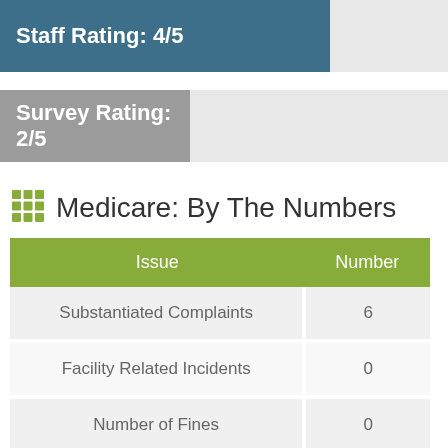[Figure (infographic): Staff Rating bar: 4/5, filled portion in dark teal/blue-gray covering about 4/5 of bar width]
[Figure (infographic): Survey Rating bar: 2/5, filled portion in gray covering about 2/5 of bar width, with '2/5' text continuing in green on unfilled portion]
Medicare: By The Numbers
| Issue | Number |
| --- | --- |
| Substantiated Complaints | 6 |
| Facility Related Incidents | 0 |
| Number of Fines | 0 |
| Total Fine Amount | $0 |